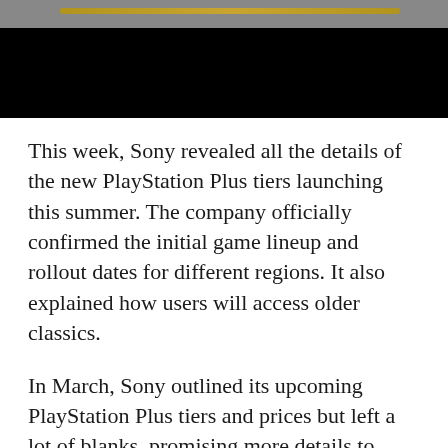[Figure (photo): Dark image block with a gold/yellow stripe or road element visible at the top against a black background.]
This week, Sony revealed all the details of the new PlayStation Plus tiers launching this summer. The company officially confirmed the initial game lineup and rollout dates for different regions. It also explained how users will access older classics.
In March, Sony outlined its upcoming PlayStation Plus tiers and prices but left a lot of blanks, promising more details to come. On Monday, it fulfilled its promise with an announcement listing dozens of games from every PlayStation system (except the PlayStation Vita) available on day one. The new tiers arrive on May 24 in Asia, June 2 in Japan, June 13 in the Americas, and